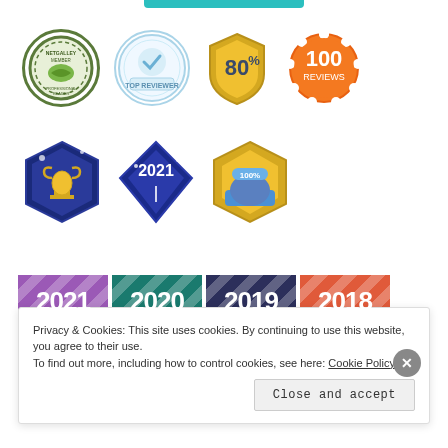[Figure (illustration): Row of badges: NetGalley Member Professional Reader badge, Top Reviewer badge, 80% badge (gold shield), 100 Reviews badge (orange)]
[Figure (illustration): Row of badges: trophy/achievement hexagon badge, 2021 diamond badge, 100% completion badge (gold)]
[Figure (illustration): Row of year completion banners: 2021 (purple), 2020 (teal), 2019 (dark blue), 2018 (orange-red), each with diagonal completed stripe]
Privacy & Cookies: This site uses cookies. By continuing to use this website, you agree to their use.
To find out more, including how to control cookies, see here: Cookie Policy
Close and accept